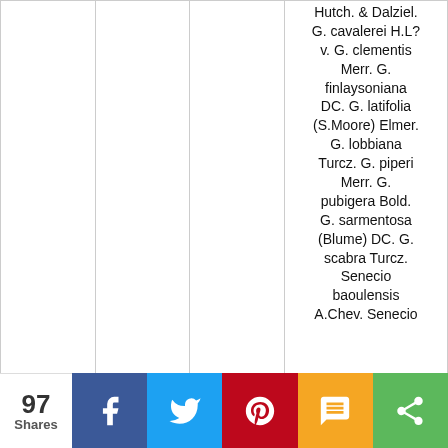|  |  |  |  |
| --- | --- | --- | --- |
|  |  |  | Hutch. & Dalziel. G. cavalerei H.L? v. G. clementis Merr. G. finlaysoniana DC. G. latifolia (S.Moore) Elmer. G. lobbiana Turcz. G. piperi Merr. G. pubigera Bold. G. sarmentosa (Blume) DC. G. scabra Turcz. Senecio baoulensis A.Chev. Senecio |
97 Shares | Facebook | Twitter | Pinterest | SMS | Share